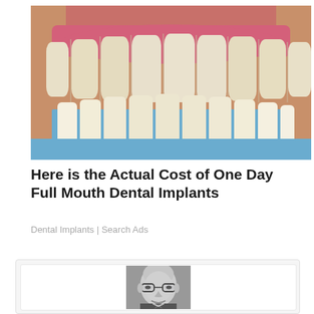[Figure (photo): Close-up photo of a person's upper teeth with dental implant shade guide teeth being held up for comparison beneath the natural teeth. Pink gums visible, teeth appear off-white/cream colored.]
Here is the Actual Cost of One Day Full Mouth Dental Implants
Dental Implants | Search Ads
[Figure (photo): Black and white portrait photo of a middle-aged bald man wearing glasses and a suit, smiling slightly.]